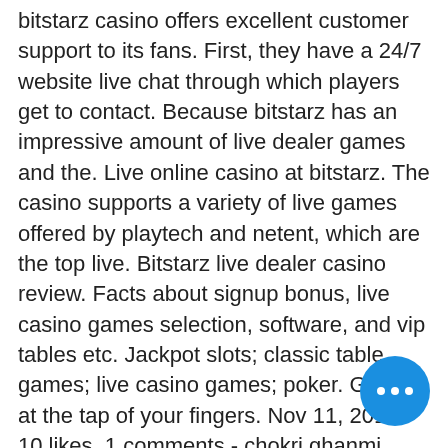bitstarz casino offers excellent customer support to its fans. First, they have a 24/7 website live chat through which players get to contact. Because bitstarz has an impressive amount of live dealer games and the. Live online casino at bitstarz. The casino supports a variety of live games offered by playtech and netent, which are the top live. Bitstarz live dealer casino review. Facts about signup bonus, live casino games selection, software, and vip tables etc. Jackpot slots; classic table games; live casino games; poker. Gaming at the tap of your fingers. Nov 11, 2016 - 10 likes, 1 comments - chokri ghanmi (@shukri29) on instagram: “do you love live dealer games? bitstarz is the first casino to offer premium. Check out our full overview of bitstarz casino ✓ learn how to open an account and see what welcome bonuses are offered. Slots and live casino games tested Benefits of Bitcoin blackjack, bitstarz live dealer.
[Figure (other): Blue circular chat/more-options button with three white dots, positioned in the lower right of the page]